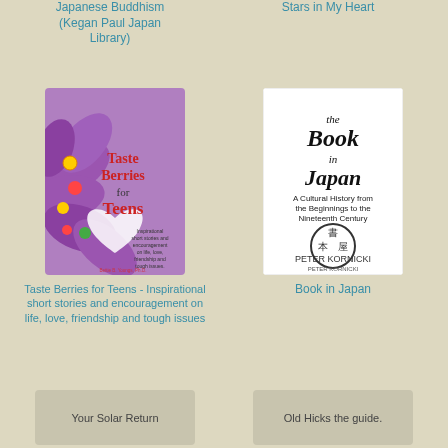Japanese Buddhism (Kegan Paul Japan Library)
Stars in My Heart
[Figure (illustration): Book cover: Taste Berries for Teens - purple flowers with colorful berries, red title text]
[Figure (illustration): Book cover: The Book in Japan - white cover with Japanese calligraphy stamp, black text]
Taste Berries for Teens - Inspirational short stories and encouragement on life, love, friendship and tough issues
Book in Japan
[Figure (illustration): Partially visible book cover placeholder: Your Solar Return]
[Figure (illustration): Partially visible book cover placeholder: Old Hicks the guide.]